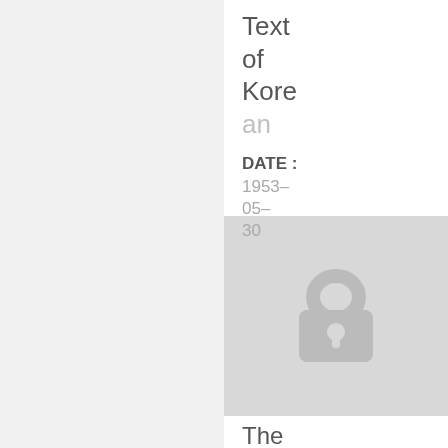Text of Korean
DATE : 1953-05-30
[Figure (illustration): A padlock icon on a light gray background, indicating restricted or classified content.]
The